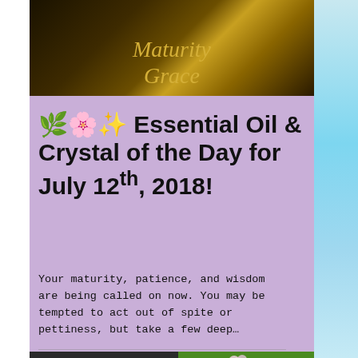[Figure (photo): Book cover with dark background and golden text reading 'Maturity Grace' in italic serif font]
🌿🌸✨ Essential Oil & Crystal of the Day for July 12th, 2018!
Your maturity, patience, and wisdom are being called on now. You may be tempted to act out of spite or pettiness, but take a few deep…
[Figure (photo): Photo of a dark grey/black rock or mineral specimen with lighter speckled patches]
[Figure (photo): Photo of small pink and white wildflowers (possibly oregano or marjoram) against a green leafy background]